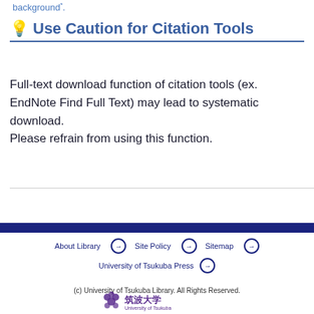background .
💡 Use Caution for Citation Tools
Full-text download function of citation tools (ex. EndNote Find Full Text) may lead to systematic download.
Please refrain from using this function.
About Library  →   Site Policy  →   Sitemap  →
University of Tsukuba Press  →
(c) University of Tsukuba Library. All Rights Reserved.